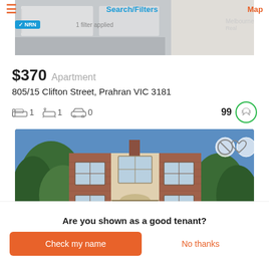Search/Filters | Map
[Figure (screenshot): Top property interior photo with NRN badge and 1 filter applied overlay]
$370  Apartment
805/15 Clifton Street, Prahran VIC 3181
1 bed  1 bath  0 car  99
[Figure (photo): Exterior photo of a red brick heritage building called Stonnington with trees in front]
Are you shown as a good tenant?
Check my name
No thanks